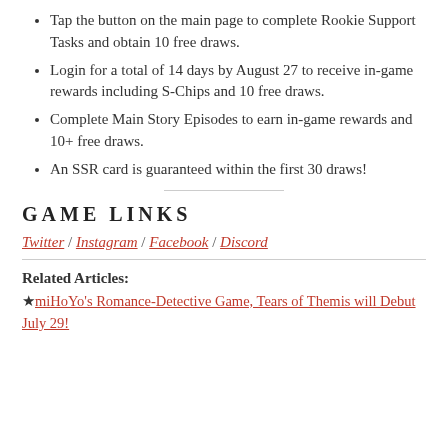Tap the button on the main page to complete Rookie Support Tasks and obtain 10 free draws.
Login for a total of 14 days by August 27 to receive in-game rewards including S-Chips and 10 free draws.
Complete Main Story Episodes to earn in-game rewards and 10+ free draws.
An SSR card is guaranteed within the first 30 draws!
GAME LINKS
Twitter / Instagram / Facebook / Discord
Related Articles:
★miHoYo's Romance-Detective Game, Tears of Themis will Debut July 29!